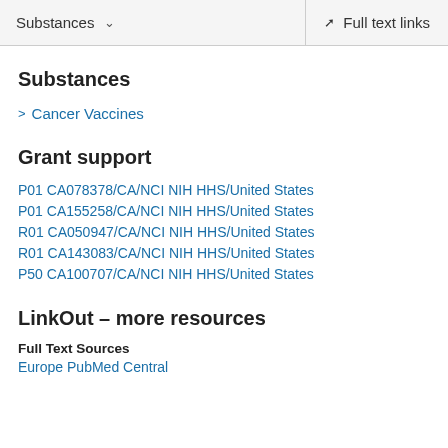Substances  ∨    Full text links
Substances
> Cancer Vaccines
Grant support
P01 CA078378/CA/NCI NIH HHS/United States
P01 CA155258/CA/NCI NIH HHS/United States
R01 CA050947/CA/NCI NIH HHS/United States
R01 CA143083/CA/NCI NIH HHS/United States
P50 CA100707/CA/NCI NIH HHS/United States
LinkOut – more resources
Full Text Sources
Europe PubMed Central